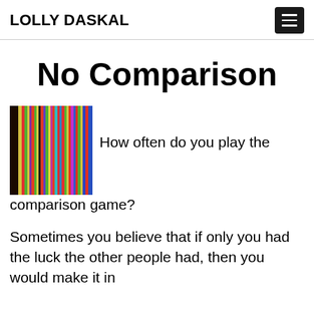LOLLY DASKAL
No Comparison
[Figure (illustration): A colorful image of vertical colored stripes (rainbow colors including red, yellow, green, blue, purple, black, and more) next to a partial view of a person, likely representing diversity or comparison.]
How often do you play the comparison game?
Sometimes you believe that if only you had the luck the other people had, then you would make it in